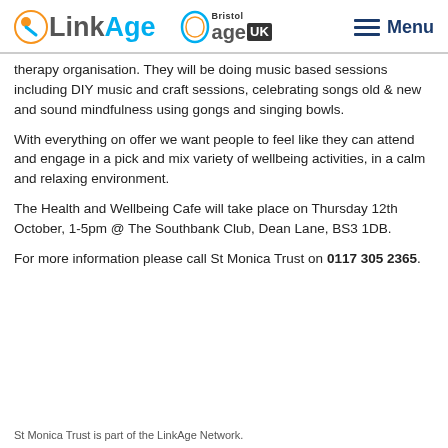[Figure (logo): LinkAge and Bristol Age UK logos with Menu navigation element]
therapy organisation. They will be doing music based sessions including DIY music and craft sessions, celebrating songs old & new and sound mindfulness using gongs and singing bowls.
With everything on offer we want people to feel like they can attend and engage in a pick and mix variety of wellbeing activities, in a calm and relaxing environment.
The Health and Wellbeing Cafe will take place on Thursday 12th October, 1-5pm @ The Southbank Club, Dean Lane, BS3 1DB.
For more information please call St Monica Trust on 0117 305 2365.
St Monica Trust is part of the LinkAge Network.